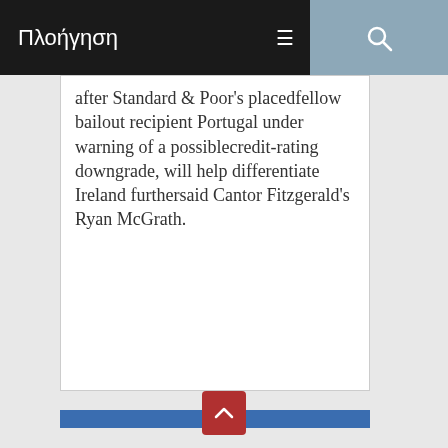Πλοήγηση
after Standard & Poor's placedfellow bailout recipient Portugal under warning of a possiblecredit-rating downgrade, will help differentiate Ireland furthersaid Cantor Fitzgerald's Ryan McGrath.